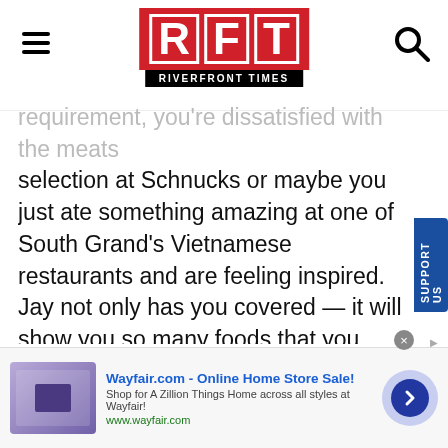RFT RIVERFRONT TIMES
…requirement, you're dissatisfied with the meats selection at Schnucks or maybe you just ate something amazing at one of South Grand's Vietnamese restaurants and are feeling inspired. Jay not only has you covered — it will show you so many foods that you never even considered. The aisles are marked with the flags of different countries in the same way that more mainstream grocery stores hang signs designating where to find canned beans and peanut butter. And the prices are cheap. This is the place where new immigrants and refugees do their everyday
[Figure (other): Wayfair.com advertisement banner with logo image, headline 'Wayfair.com - Online Home Store Sale!', description text 'Shop for A Zillion Things Home across all styles at Wayfair!', URL 'www.wayfair.com', and a blue arrow button]